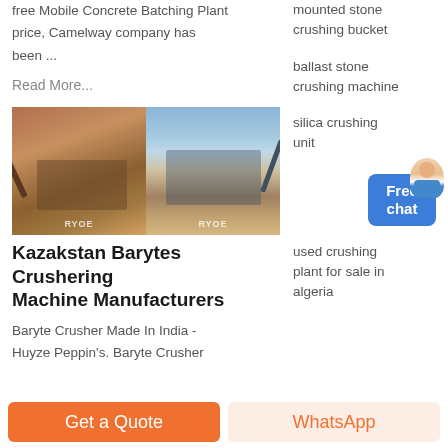free Mobile Concrete Batching Plant price, Camelway company has been ...
Read More...
[Figure (photo): Two photos of industrial crushing/batching plant machinery at mining/quarry sites]
Kazakstan Barytes Crushering Machine Manufacturers
Baryte Crusher Made In India - Huyze Peppin's. Baryte Crusher
mounted stone crushing bucket
ballast stone crushing machine
silica crushing unit
[Figure (other): Free chat widget with avatar and blue button]
used crushing plant for sale in algeria
Get a Quote
WhatsApp